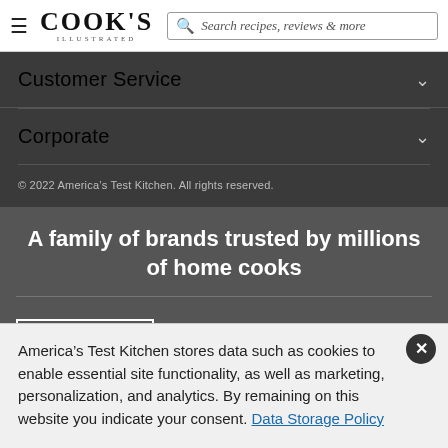Cook's Illustrated — Search recipes, reviews & more
Customer Service
Corporate
© 2022 America's Test Kitchen. All rights reserved.
A family of brands trusted by millions of home cooks
[Figure (logo): America's Test Kitchen logo in a white bordered box]
Learn real cooking skills from your favorite
America's Test Kitchen stores data such as cookies to enable essential site functionality, as well as marketing, personalization, and analytics. By remaining on this website you indicate your consent. Data Storage Policy